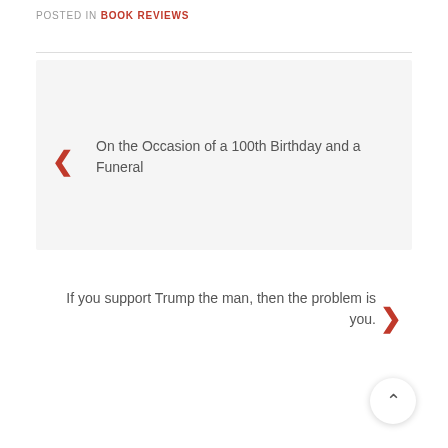POSTED IN BOOK REVIEWS
On the Occasion of a 100th Birthday and a Funeral
If you support Trump the man, then the problem is you.